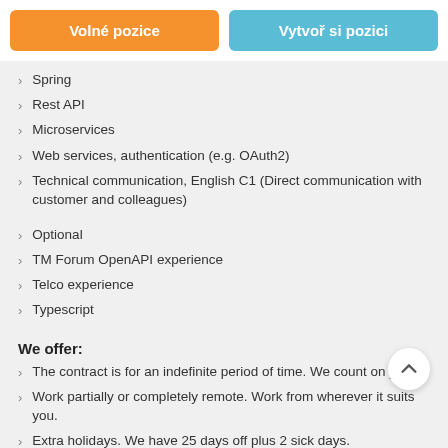Volné pozice | Vytvoř si pozici
Spring
Rest API
Microservices
Web services, authentication (e.g. OAuth2)
Technical communication, English C1 (Direct communication with customer and colleagues)
Optional
TM Forum OpenAPI experience
Telco experience
Typescript
We offer:
The contract is for an indefinite period of time. We count on you!
Work partially or completely remote. Work from wherever it suits you.
Extra holidays. We have 25 days off plus 2 sick days.
We contribute from 10 400 CZK per year. You name it. Choose from